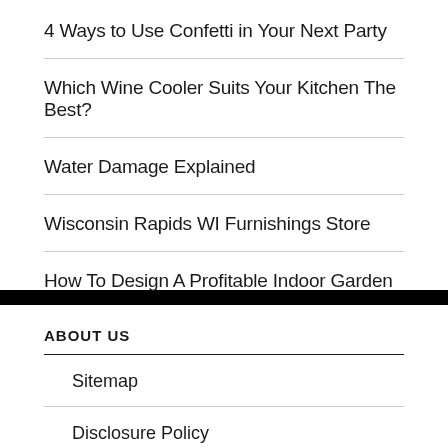4 Ways to Use Confetti in Your Next Party
Which Wine Cooler Suits Your Kitchen The Best?
Water Damage Explained
Wisconsin Rapids WI Furnishings Store
How To Design A Profitable Indoor Garden
ABOUT US
Sitemap
Disclosure Policy
Advertise Here